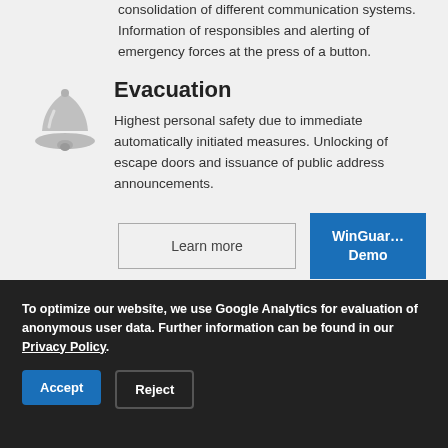consolidation of different communication systems. Information of responsibles and alerting of emergency forces at the press of a button.
Evacuation
Highest personal safety due to immediate automatically initiated measures. Unlocking of escape doors and issuance of public address announcements.
Learn more
WinGuard Demo
To optimize our website, we use Google Analytics for evaluation of anonymous user data. Further information can be found in our Privacy Policy.
Accept
Reject